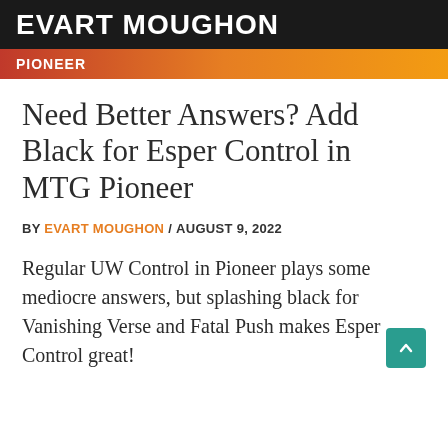EVART MOUGHON
PIONEER
Need Better Answers? Add Black for Esper Control in MTG Pioneer
BY EVART MOUGHON / AUGUST 9, 2022
Regular UW Control in Pioneer plays some mediocre answers, but splashing black for Vanishing Verse and Fatal Push makes Esper Control great!